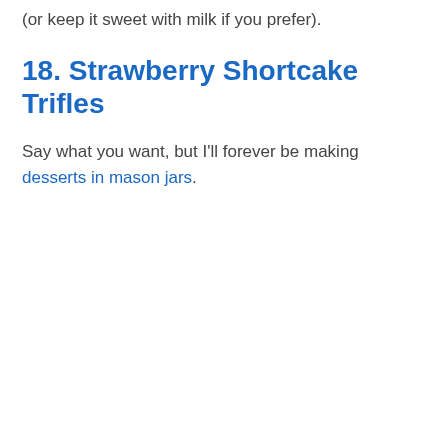(or keep it sweet with milk if you prefer).
18. Strawberry Shortcake Trifles
Say what you want, but I'll forever be making desserts in mason jars.